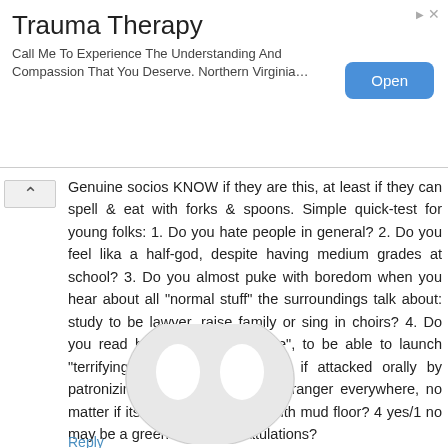[Figure (infographic): Advertisement banner for Trauma Therapy with Open button]
Genuine socios KNOW if they are this, at least if they can spell & eat with forks & spoons. Simple quick-test for young folks: 1. Do you hate people in general? 2. Do you feel lika a half-god, despite having medium grades at school? 3. Do you almost puke with boredom when you hear about all "normal stuff" the surroundings talk about: study to be lawyer, raise family or sing in choirs? 4. Do you read books in "self defense", to be able to launch "terrifying intellectual retribution", if attacked orally by patronizing cunt? 5. Are you a stranger everywhere, no matter if its in a castle or a hut with mud floor? 4 yes/1 no may be a green light. Congratulations?
Reply
Replies
Anonymous July 21, 2014 at 9:13 AM